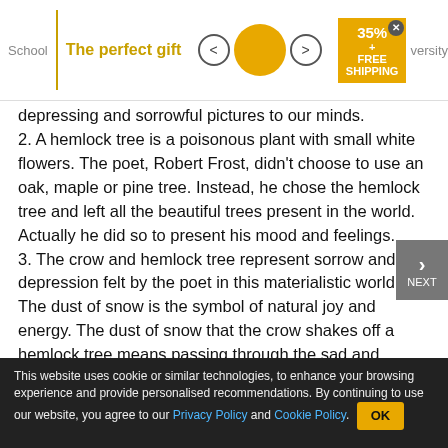[Figure (screenshot): Advertisement banner showing 'The perfect gift' with a bowl image, navigation arrows, 35% off and FREE SHIPPING promo badge, and partial website navigation showing 'School' and 'versity']
depressing and sorrowful pictures to our minds.
2. A hemlock tree is a poisonous plant with small white flowers. The poet, Robert Frost, didn't choose to use an oak, maple or pine tree. Instead, he chose the hemlock tree and left all the beautiful trees present in the world. Actually he did so to present his mood and feelings.
3. The crow and hemlock tree represent sorrow and depression felt by the poet in this materialistic world. The dust of snow is the symbol of natural joy and energy. The dust of snow that the crow shakes off a hemlock tree means passing through the sad and
This website uses cookie or similar technologies, to enhance your browsing experience and provide personalised recommendations. By continuing to use our website, you agree to our Privacy Policy and Cookie Policy.